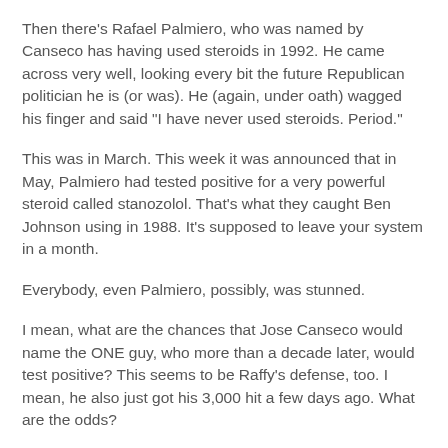Then there's Rafael Palmiero, who was named by Canseco has having used steroids in 1992. He came across very well, looking every bit the future Republican politician he is (or was). He (again, under oath) wagged his finger and said "I have never used steroids. Period."
This was in March. This week it was announced that in May, Palmiero had tested positive for a very powerful steroid called stanozolol. That's what they caught Ben Johnson using in 1988. It's supposed to leave your system in a month.
Everybody, even Palmiero, possibly, was stunned.
I mean, what are the chances that Jose Canseco would name the ONE guy, who more than a decade later, would test positive? This seems to be Raffy's defense, too. I mean, he also just got his 3,000 hit a few days ago. What are the odds?
Said one Congressman: "You've got to remember -- of